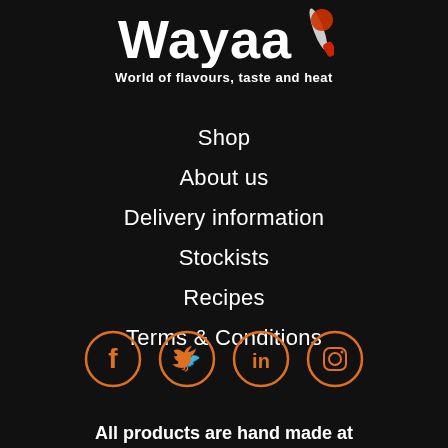[Figure (logo): Wayaa logo with stylized text and knife graphic, tagline: World of flavours, taste and heat]
Shop
About us
Delivery information
Stockists
Recipes
Terms & Conditions
[Figure (illustration): Four social media icons in orange circles: Facebook, Twitter, LinkedIn, Instagram]
All products are hand made at